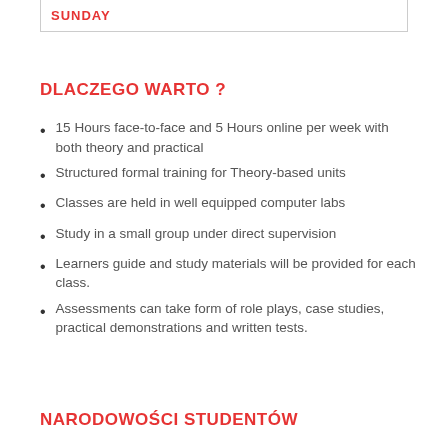SUNDAY
DLACZEGO WARTO ?
15 Hours face-to-face and 5 Hours online per week with both theory and practical
Structured formal training for Theory-based units
Classes are held in well equipped computer labs
Study in a small group under direct supervision
Learners guide and study materials will be provided for each class.
Assessments can take form of role plays, case studies, practical demonstrations and written tests.
NARODOWOŚCI STUDENTÓW